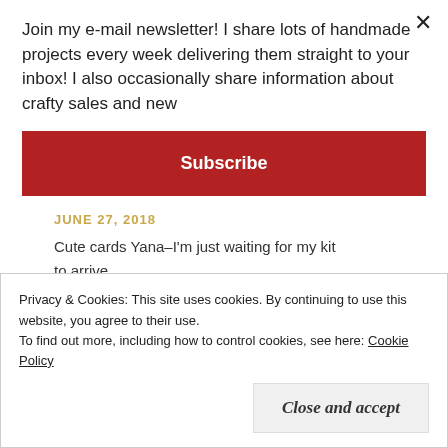Join my e-mail newsletter! I share lots of handmade projects every week delivering them straight to your inbox! I also occasionally share information about crafty sales and new
Subscribe
JUNE 27, 2018
Cute cards Yana–I'm just waiting for my kit to arrive.
Reply
Privacy & Cookies: This site uses cookies. By continuing to use this website, you agree to their use.
To find out more, including how to control cookies, see here: Cookie Policy
Close and accept